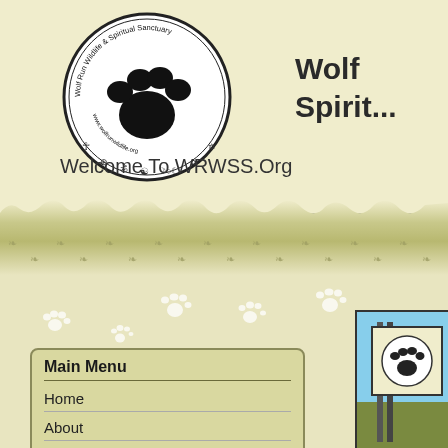[Figure (logo): Wolf Run Wildlife & Spiritual Sanctuary circular logo with paw print and spiritual symbols]
Wolf Run Wildlife & Spiritual Sanctuary (partially visible: 'Wolf' and 'Spirit...')
Welcome To WRWSS.Org
[Figure (illustration): Decorative torn paper edge band with olive/yellow-green gradient and repeating small plant/leaf decorative motifs]
[Figure (illustration): Scattered white paw print decorations on light background]
Main Menu
Home
About
Events
[Figure (photo): Photograph showing sanctuary sign with wolf/paw logo on a post, outdoor setting with sky and grass visible]